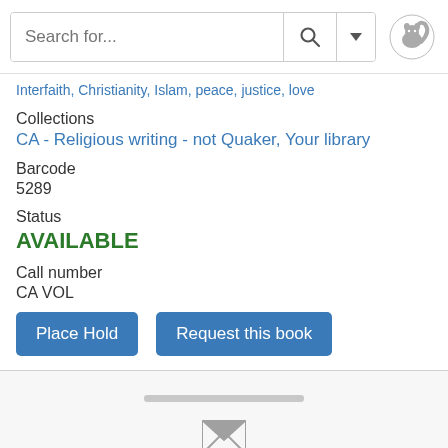Search for...
Interfaith, Christianity, Islam, peace, justice, love
Collections
CA - Religious writing - not Quaker, Your library
Barcode
5289
Status
AVAILABLE
Call number
CA VOL
Place Hold   Request this book
Friends and the christian church: part one